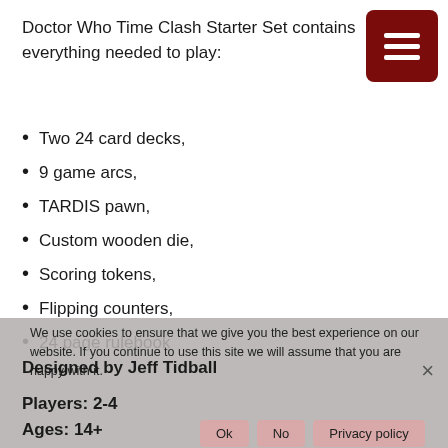Doctor Who Time Clash Starter Set contains everything needed to play:
Two 24 card decks,
9 game arcs,
TARDIS pawn,
Custom wooden die,
Scoring tokens,
Flipping counters,
24 page rulebook
Designed by Jeff Tidball
Players: 2-4
Ages: 14+
We use cookies to ensure that we give you the best experience on our website. If you continue to use this site we will assume that you are happy with it.